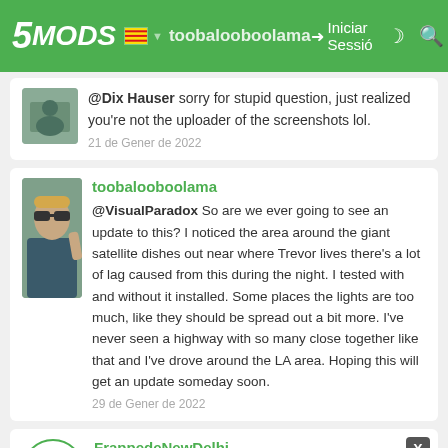5MODS | toobalooboolama | Iniciar Sessió
@Dix Hauser sorry for stupid question, just realized you're not the uploader of the screenshots lol.
21 de Gener de 2022
@VisualParadox So are we ever going to see an update to this? I noticed the area around the giant satellite dishes out near where Trevor lives there's a lot of lag caused from this during the night. I tested with and without it installed. Some places the lights are too much, like they should be spread out a bit more. I've never seen a highway with so many close together like that and I've drove around the LA area. Hoping this will get an update someday soon.
29 de Gener de 2022
Does anyone has random crashes with this mod ? Cuz I have ... (HPS Low LOD, GTA 2372 (the one just